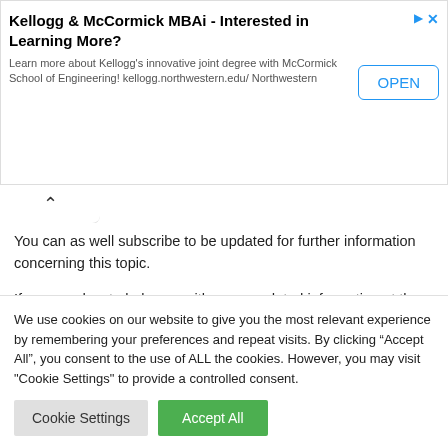[Figure (other): Advertisement banner for Kellogg & McCormick MBAi with OPEN button]
You can as well subscribe to be updated for further information concerning this topic.
If you need us to help you with more updated information at the right time about Turkey Scholarship Shortlisted Applicants
We use cookies on our website to give you the most relevant experience by remembering your preferences and repeat visits. By clicking “Accept All”, you consent to the use of ALL the cookies. However, you may visit "Cookie Settings" to provide a controlled consent.